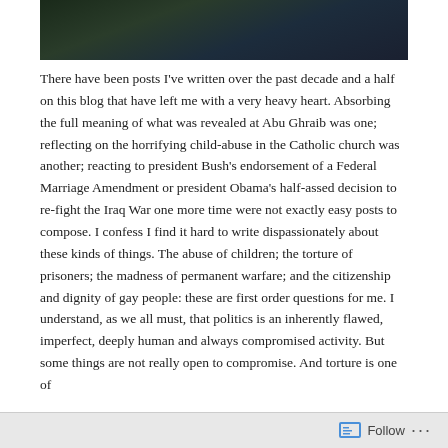[Figure (photo): Partial photograph of a person in a dark suit against a dark leafy background, cropped to show upper portion only.]
There have been posts I've written over the past decade and a half on this blog that have left me with a very heavy heart. Absorbing the full meaning of what was revealed at Abu Ghraib was one; reflecting on the horrifying child-abuse in the Catholic church was another; reacting to president Bush's endorsement of a Federal Marriage Amendment or president Obama's half-assed decision to re-fight the Iraq War one more time were not exactly easy posts to compose. I confess I find it hard to write dispassionately about these kinds of things. The abuse of children; the torture of prisoners; the madness of permanent warfare; and the citizenship and dignity of gay people: these are first order questions for me. I understand, as we all must, that politics is an inherently flawed, imperfect, deeply human and always compromised activity. But some things are not really open to compromise. And torture is one of
Follow